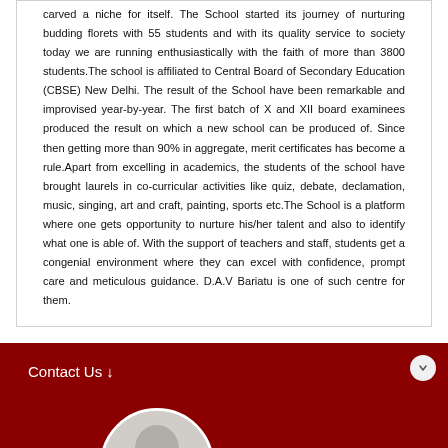carved a niche for itself. The School started its journey of nurturing budding florets with 55 students and with its quality service to society today we are running enthusiastically with the faith of more than 3800 students.The school is affiliated to Central Board of Secondary Education (CBSE) New Delhi. The result of the School have been remarkable and improvised year-by-year. The first batch of X and XII board examinees produced the result on which a new school can be produced of. Since then getting more than 90% in aggregate, merit certificates has become a rule.Apart from excelling in academics, the students of the school have brought laurels in co-curricular activities like quiz, debate, declamation, music, singing, art and craft, painting, sports etc.The School is a platform where one gets opportunity to nurture his/her talent and also to identify what one is able of. With the support of teachers and staff, students get a congenial environment where they can excel with confidence, prompt care and meticulous guidance. D.A.V Bariatu is one of such centre for them.
Contact Us ↓
[Figure (photo): Circular photo of a person (student or staff) at the bottom of the dark red contact section]